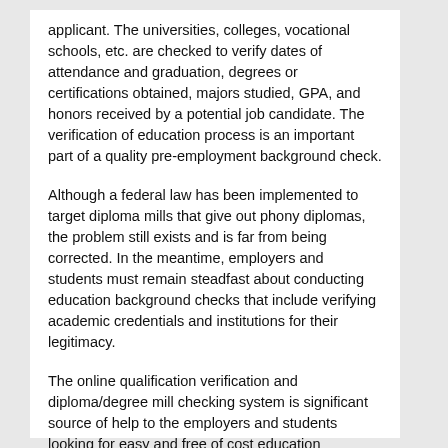applicant. The universities, colleges, vocational schools, etc. are checked to verify dates of attendance and graduation, degrees or certifications obtained, majors studied, GPA, and honors received by a potential job candidate. The verification of education process is an important part of a quality pre-employment background check.
Although a federal law has been implemented to target diploma mills that give out phony diplomas, the problem still exists and is far from being corrected. In the meantime, employers and students must remain steadfast about conducting education background checks that include verifying academic credentials and institutions for their legitimacy.
The online qualification verification and diploma/degree mill checking system is significant source of help to the employers and students looking for easy and free of cost education background checks.